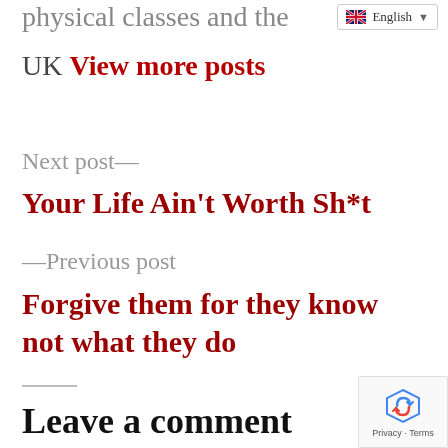physical classes and the UK View more posts
Next post—
Your Life Ain't Worth Sh*t
—Previous post
Forgive them for they know not what they do
Leave a comment